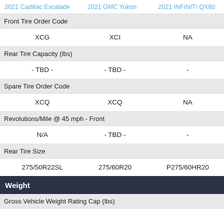2021 Cadillac Escalade | 2021 GMC Yukon | 2021 INFINITI QX80
|  | 2021 Cadillac Escalade | 2021 GMC Yukon | 2021 INFINITI QX80 |
| --- | --- | --- | --- |
| Front Tire Order Code |  |  |  |
|  | XCG | XCI | NA |
| Rear Tire Capacity (lbs) |  |  |  |
|  | - TBD - | - TBD - | - |
| Spare Tire Order Code |  |  |  |
|  | XCQ | XCQ | NA |
| Revolutions/Mile @ 45 mph - Front |  |  |  |
|  | N/A | - TBD - | - |
| Rear Tire Size |  |  |  |
|  | 275/50R22SL | 275/60R20 | P275/60HR20 |
| Weight |  |  |  |
| Gross Vehicle Weight Rating Cap (lbs) |  |  |  |